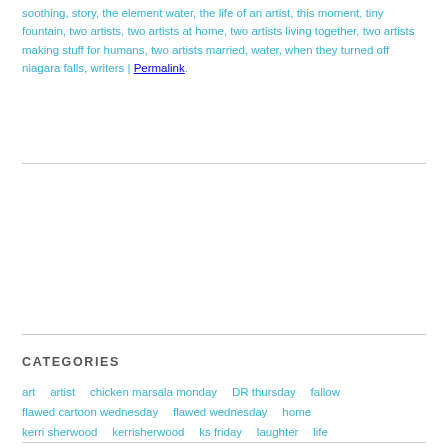soothing, story, the element water, the life of an artist, this moment, tiny fountain, two artists, two artists at home, two artists living together, two artists making stuff for humans, two artists married, water, when they turned off niagara falls, writers | Permalink.
CATEGORIES
art  artist  chicken marsala monday  DR thursday  fallow  flawed cartoon wednesday  flawed wednesday  home  kerri sherwood  kerrisherwood  ks friday  laughter  life  love  merely a thought monday  momma  music  not-so-flawed wednesday  performing  piano  prints  recording artist  relevance  sisu  smack-dab  story  two artists tuesday  Uncategorized  yamaha